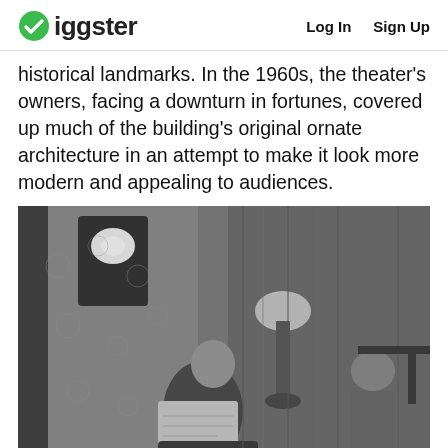Giggster | Log In  Sign Up
historical landmarks. In the 1960s, the theater's owners, facing a downturn in fortunes, covered up much of the building's original ornate architecture in an attempt to make it look more modern and appealing to audiences.
[Figure (photo): Black and white photograph showing a man sitting in a chair reading a newspaper in a room with floral wallpaper, a lamp, curtains, and another person visible in the background.]